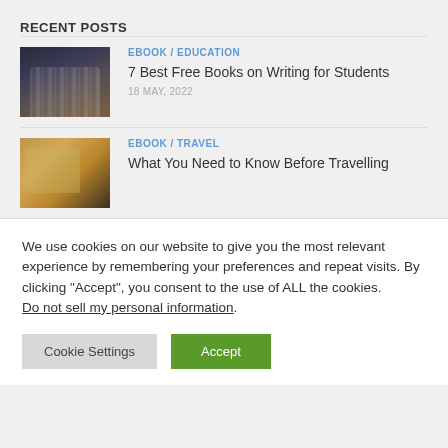RECENT POSTS
[Figure (photo): Stack of open books from above with light shining through pages]
EBOOK / EDUCATION
7 Best Free Books on Writing for Students
18 MAY, 2022
[Figure (photo): Person holding a tablet in a travel setting with warm bokeh lights]
EBOOK / TRAVEL
What You Need to Know Before Travelling
We use cookies on our website to give you the most relevant experience by remembering your preferences and repeat visits. By clicking “Accept”, you consent to the use of ALL the cookies.
Do not sell my personal information.
Cookie Settings
Accept